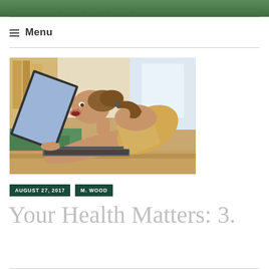[Figure (photo): Green banner header image at the top of a webpage]
≡ Menu
[Figure (photo): Woman leaning forward and appearing to bite or yell at a laptop computer screen, seated at a desk]
AUGUST 27, 2017   M. WOOD
Your Health Matters: 3.